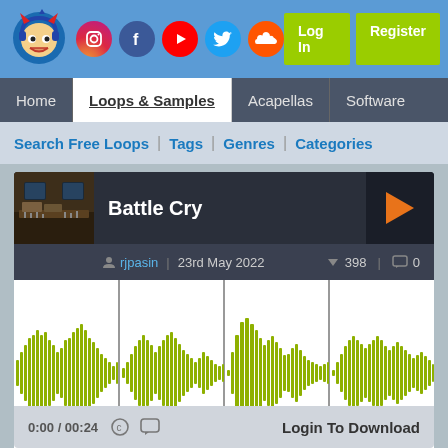Header with logo, social icons (Instagram, Facebook, YouTube, Twitter, SoundCloud), Log In, Register
Home | Loops & Samples | Acapellas | Software
Search Free Loops | Tags | Genres | Categories
Battle Cry
rjpasin | 23rd May 2022 | 398 votes | 0 comments
[Figure (other): Audio waveform visualization showing a music loop in olive/yellow-green color with 4 sections separated by thin vertical lines on white background]
0:00 / 00:24  Login To Download